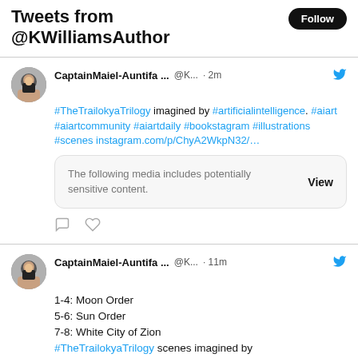Tweets from @KWilliamsAuthor
CaptainMaiel-Auntifa ... @K... · 2m
#TheTrailokyaTrilogy imagined by #artificialintelligence. #aiart #aiartcommunity #aiartdaily #bookstagram #illustrations #scenes instagram.com/p/ChyA2WkpN32/…
The following media includes potentially sensitive content. View
CaptainMaiel-Auntifa ... @K... · 11m
1-4: Moon Order
5-6: Sun Order
7-8: White City of Zion
#TheTrailokyaTrilogy scenes imagined by #artificialintelligence #aiart #aiartcommunity #aiartdaily #illustrations #conceptart